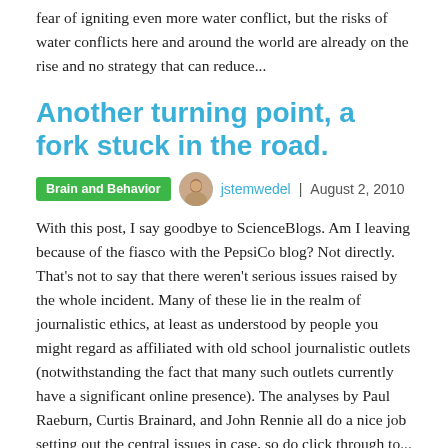fear of igniting even more water conflict, but the risks of water conflicts here and around the world are already on the rise and no strategy that can reduce...
Another turning point, a fork stuck in the road.
Brain and Behavior  jstemwedel  |  August 2, 2010
With this post, I say goodbye to ScienceBlogs. Am I leaving because of the fiasco with the PepsiCo blog? Not directly. That's not to say that there weren't serious issues raised by the whole incident. Many of these lie in the realm of journalistic ethics, at least as understood by people you might regard as affiliated with old school journalistic outlets (notwithstanding the fact that many such outlets currently have a significant online presence). The analyses by Paul Raeburn, Curtis Brainard, and John Rennie all do a nice job setting out the central issues in case, so do click through to...
Jet Lag